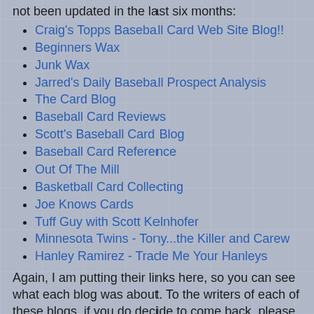not been updated in the last six months:
Craig's Topps Baseball Card Web Site Blog!!
Beginners Wax
Junk Wax
Jarred's Daily Baseball Prospect Analysis
The Card Blog
Baseball Card Reviews
Scott's Baseball Card Blog
Baseball Card Reference
Out Of The Mill
Basketball Card Collecting
Joe Knows Cards
Tuff Guy with Scott Kelnhofer
Minnesota Twins - Tony...the Killer and Carew
Hanley Ramirez - Trade Me Your Hanleys
Again, I am putting their links here, so you can see what each blog was about. To the writers of each of these blogs, if you do decide to come back, please drop me a line like Ray